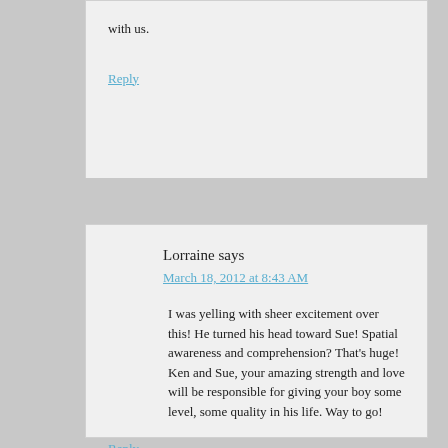with us.
Reply
Lorraine says
March 18, 2012 at 8:43 AM
I was yelling with sheer excitement over this! He turned his head toward Sue! Spatial awareness and comprehension? That's huge! Ken and Sue, your amazing strength and love will be responsible for giving your boy some level, some quality in his life. Way to go!
Reply